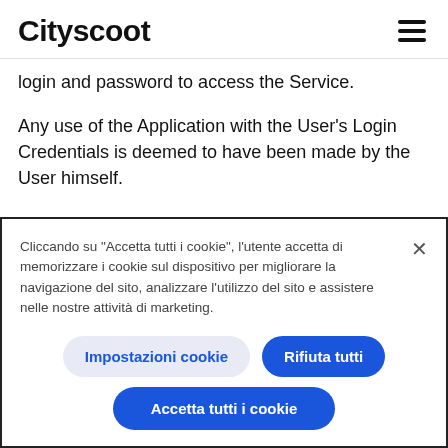Cityscoot
login and password to access the Service.
Any use of the Application with the User's Login Credentials is deemed to have been made by the User himself.
Cliccando su “Accetta tutti i cookie”, l’utente accetta di memorizzare i cookie sul dispositivo per migliorare la navigazione del sito, analizzare l’utilizzo del sito e assistere nelle nostre attività di marketing.
Impostazioni cookie
Rifiuta tutti
Accetta tutti i cookie